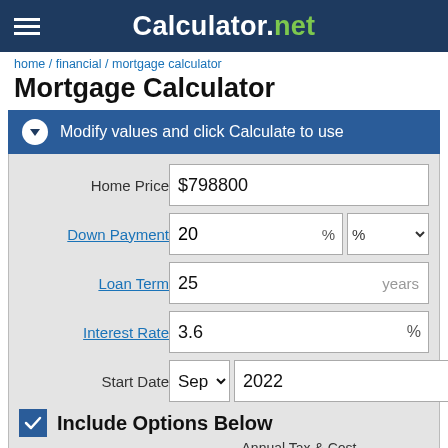Calculator.net
home / financial / mortgage calculator
Mortgage Calculator
Modify values and click Calculate to use
| Field | Value |
| --- | --- |
| Home Price | $798800 |
| Down Payment | 20 % | % |
| Loan Term | 25 years |
| Interest Rate | 3.6 % |
| Start Date | Sep 2022 |
Include Options Below
Annual Tax & Cost